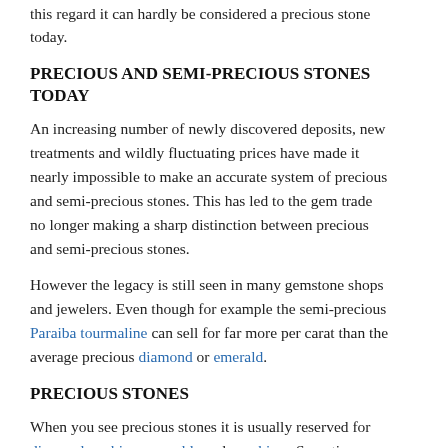this regard it can hardly be considered a precious stone today.
PRECIOUS AND SEMI-PRECIOUS STONES TODAY
An increasing number of newly discovered deposits, new treatments and wildly fluctuating prices have made it nearly impossible to make an accurate system of precious and semi-precious stones. This has led to the gem trade no longer making a sharp distinction between precious and semi-precious stones.
However the legacy is still seen in many gemstone shops and jewelers. Even though for example the semi-precious Paraiba tourmaline can sell for far more per carat than the average precious diamond or emerald.
PRECIOUS STONES
When you see precious stones it is usually reserved for diamonds, rubies, emeralds and sapphires. Sometimes pearls